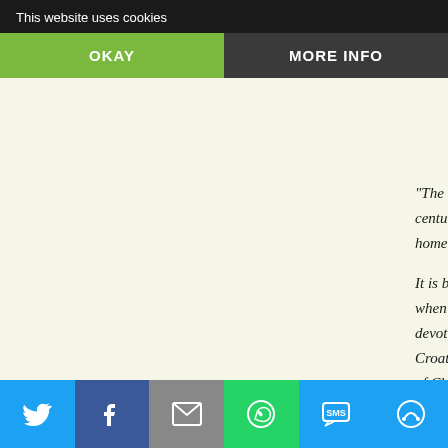This website uses cookies
Please raise your glasses..."
Vukic, Croatian Diasporan Voice:
"The only embroidery of friendship is fidelity" a 19th century politician and writer referred to as...homeland.

It is both an honour and a pleasure to be with you tonight when we celebrate excellence and outstanding devotion from the Croatian diaspora to the Croatian homeland. This award tonight is... of Charles Billich's enduring vision for a free Croatia and his enormous contributions to the defence of truth and Croatian name throughout the world and his outstanding humanitarian generosity.

Croatia! The cradle of Croatian peoples' existence and history; the father of our freedom fighting... legend and the great grandmother of tradi...
Twitter Facebook Email WhatsApp SMS More